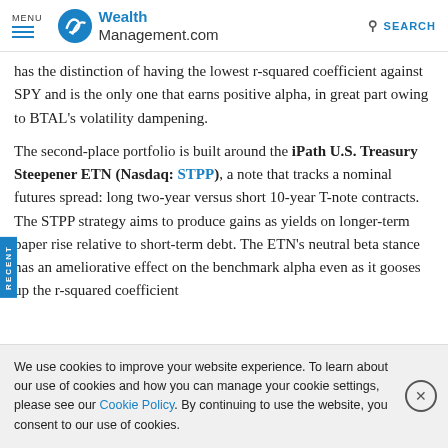MENU | WealthManagement.com | SEARCH
has the distinction of having the lowest r-squared coefficient against SPY and is the only one that earns positive alpha, in great part owing to BTAL's volatility dampening.
The second-place portfolio is built around the iPath U.S. Treasury Steepener ETN (Nasdaq: STPP), a note that tracks a nominal futures spread: long two-year versus short 10-year T-note contracts. The STPP strategy aims to produce gains as yields on longer-term paper rise relative to short-term debt. The ETN's neutral beta stance has an ameliorative effect on the benchmark alpha even as it gooses up the r-squared coefficient
We use cookies to improve your website experience. To learn about our use of cookies and how you can manage your cookie settings, please see our Cookie Policy. By continuing to use the website, you consent to our use of cookies.